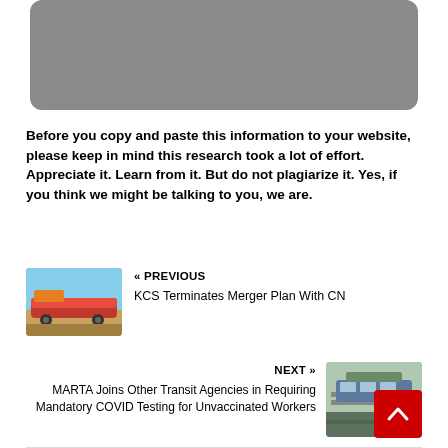[Figure (photo): Gray placeholder image block at the top of the page]
Before you copy and paste this information to your website, please keep in mind this research took a lot of effort. Appreciate it. Learn from it. But do not plagiarize it. Yes, if you think we might be talking to you, we are.
[Figure (photo): Thumbnail of a red and yellow locomotive train]
« PREVIOUS
KCS Terminates Merger Plan With CN
NEXT »
MARTA Joins Other Transit Agencies in Requiring Mandatory COVID Testing for Unvaccinated Workers
[Figure (photo): Thumbnail of a transit train on an elevated track]